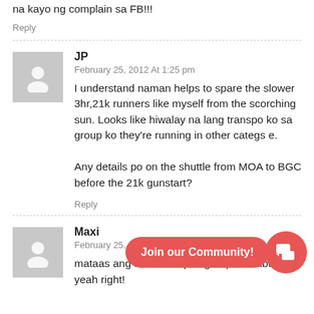na kayo ng complain sa FB!!!
Reply
JP
February 25, 2012 At 1:25 pm
I understand naman helps to spare the slower 3hr,21k runners like myself from the scorching sun. Looks like hiwalay na lang transpo ko sa group ko they're running in other categs e.

Any details po on the shuttle from MOA to BGC before the 21k gunstart?
Reply
Maxi
February 25, 201...
mataas ang fees dahil pinag iisipan mabuti, yeah right!
[Figure (infographic): Join our Community! overlay button with chat icon circle in coral/red color]